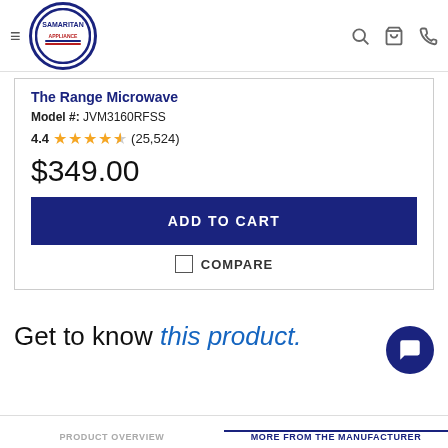Samaritan Appliance — navigation header with logo, search, cart, phone icons
The Range Microwave
Model #: JVM3160RFSS
4.4 ★★★★½ (25,524)
$349.00
ADD TO CART
COMPARE
Get to know this product.
PRODUCT OVERVIEW    MORE FROM THE MANUFACTURER